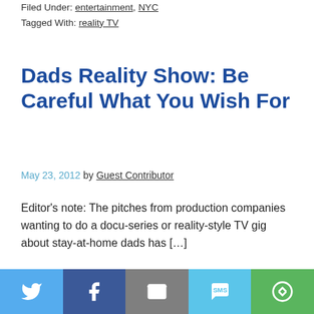Filed Under: entertainment, NYC
Tagged With: reality TV
Dads Reality Show: Be Careful What You Wish For
May 23, 2012 by Guest Contributor
Editor's note: The pitches from production companies wanting to do a docu-series or reality-style TV gig about stay-at-home dads has […]
Filed Under: entertainment, NYC
Tagged With: reality TV, television
[Figure (infographic): Social sharing bar with Twitter, Facebook, Email, SMS, and More buttons]